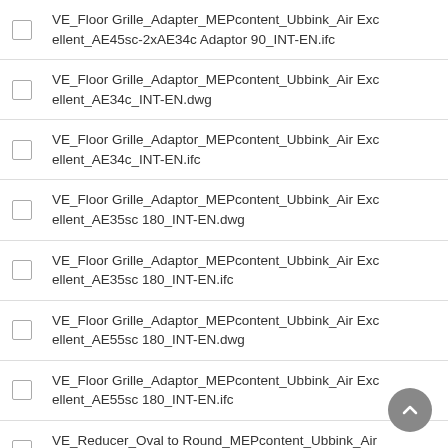VE_Floor Grille_Adapter_MEPcontent_Ubbink_Air Excellent_AE45sc-2xAE34c Adaptor 90_INT-EN.ifc
VE_Floor Grille_Adaptor_MEPcontent_Ubbink_Air Excellent_AE34c_INT-EN.dwg
VE_Floor Grille_Adaptor_MEPcontent_Ubbink_Air Excellent_AE34c_INT-EN.ifc
VE_Floor Grille_Adaptor_MEPcontent_Ubbink_Air Excellent_AE35sc 180_INT-EN.dwg
VE_Floor Grille_Adaptor_MEPcontent_Ubbink_Air Excellent_AE35sc 180_INT-EN.ifc
VE_Floor Grille_Adaptor_MEPcontent_Ubbink_Air Excellent_AE55sc 180_INT-EN.dwg
VE_Floor Grille_Adaptor_MEPcontent_Ubbink_Air Excellent_AE55sc 180_INT-EN.ifc
VE_Reducer_Oval to Round_MEPcontent_Ubbink_Air Excellent_AE48c-AE55sc_INT-EN.dwg